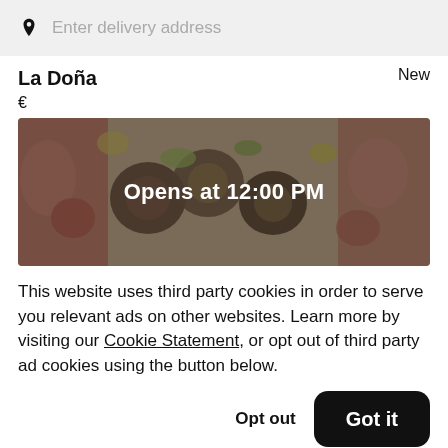Enter delivery address
La Doña
New
€
[Figure (photo): Overhead photo of sushi rolls and food items, partially darkened, with text overlay reading 'Opens at 12:00 PM']
This website uses third party cookies in order to serve you relevant ads on other websites. Learn more by visiting our Cookie Statement, or opt out of third party ad cookies using the button below.
Opt out
Got it